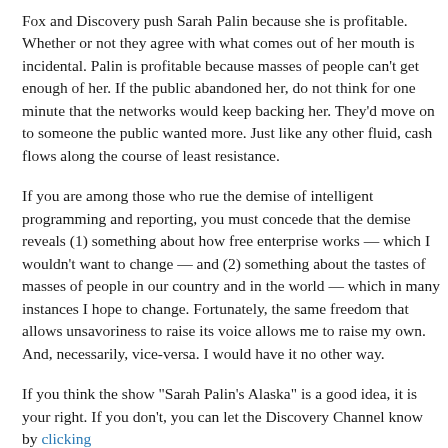Fox and Discovery push Sarah Palin because she is profitable. Whether or not they agree with what comes out of her mouth is incidental. Palin is profitable because masses of people can't get enough of her. If the public abandoned her, do not think for one minute that the networks would keep backing her. They'd move on to someone the public wanted more. Just like any other fluid, cash flows along the course of least resistance.
If you are among those who rue the demise of intelligent programming and reporting, you must concede that the demise reveals (1) something about how free enterprise works — which I wouldn't want to change — and (2) something about the tastes of masses of people in our country and in the world — which in many instances I hope to change. Fortunately, the same freedom that allows unsavoriness to raise its voice allows me to raise my own. And, necessarily, vice-versa. I would have it no other way.
If you think the show "Sarah Palin's Alaska" is a good idea, it is your right. If you don't, you can let the Discovery Channel know by clicking